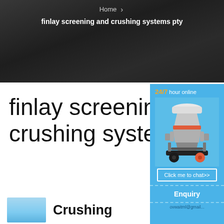Home > finlay screening and crushing systems pty
finlay screening and crushing systems
[Figure (screenshot): Live chat widget showing a cone crusher machine with '24/7 hour online' label, a 'Click me to chat>>' button, an 'Enquiry' button, and a partial email address starting with ovwaitml@gmail...]
Crushing